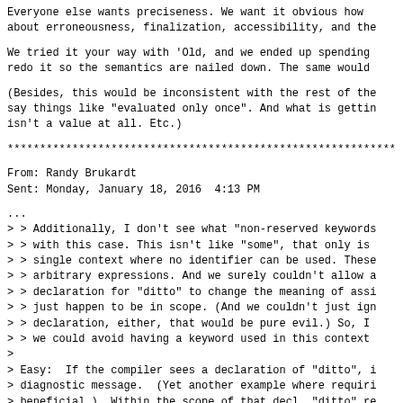Everyone else wants preciseness. We want it obvious how
about erroneousness, finalization, accessibility, and the
We tried it your way with 'Old, and we ended up spending
redo it so the semantics are nailed down. The same would
(Besides, this would be inconsistent with the rest of the
say things like "evaluated only once". And what is gettin
isn't a value at all. Etc.)
************************************************************
From: Randy Brukardt
Sent: Monday, January 18, 2016  4:13 PM
...
> > Additionally, I don't see what "non-reserved keywords
> > with this case. This isn't like "some", that only is
> > single context where no identifier can be used. These
> > arbitrary expressions. And we surely couldn't allow a
> > declaration for "ditto" to change the meaning of assi
> > just happen to be in scope. (And we couldn't just ign
> > declaration, either, that would be pure evil.) So, I
> > we could avoid having a keyword used in this context
>
> Easy:  If the compiler sees a declaration of "ditto", i
> diagnostic message.  (Yet another example where requiri
> beneficial.)  Within the scope of that decl, "ditto" re
> declaration; it's not the keyword.  I guess it should w
> such USE of ditto as well.